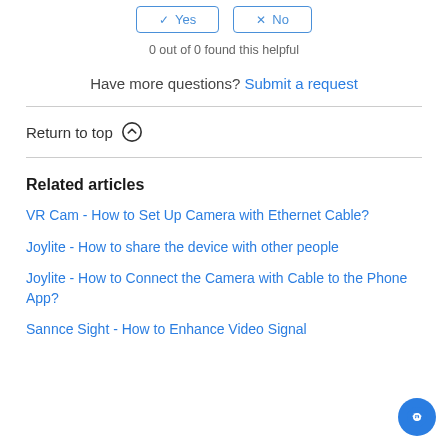0 out of 0 found this helpful
Have more questions? Submit a request
Return to top ↑
Related articles
VR Cam - How to Set Up Camera with Ethernet Cable?
Joylite - How to share the device with other people
Joylite - How to Connect the Camera with Cable to the Phone App?
Sannce Sight - How to Enhance Video Signal